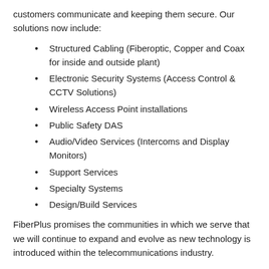customers communicate and keeping them secure. Our solutions now include:
Structured Cabling (Fiberoptic, Copper and Coax for inside and outside plant)
Electronic Security Systems (Access Control & CCTV Solutions)
Wireless Access Point installations
Public Safety DAS
Audio/Video Services (Intercoms and Display Monitors)
Support Services
Specialty Systems
Design/Build Services
FiberPlus promises the communities in which we serve that we will continue to expand and evolve as new technology is introduced within the telecommunications industry.
Have any questions? Interested in one of our services? Call FiberPlus today 800-394-3301, email us at